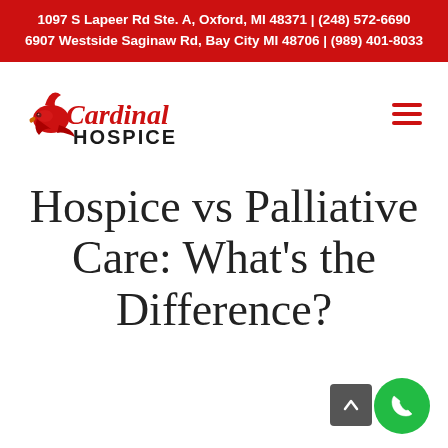1097 S Lapeer Rd Ste. A, Oxford, MI 48371 | (248) 572-6690
6907 Westside Saginaw Rd, Bay City MI 48706 | (989) 401-8033
[Figure (logo): Cardinal Hospice logo with red cardinal bird and stylized text 'Cardinal HOSPICE']
Hospice vs Palliative Care: What's the Difference?